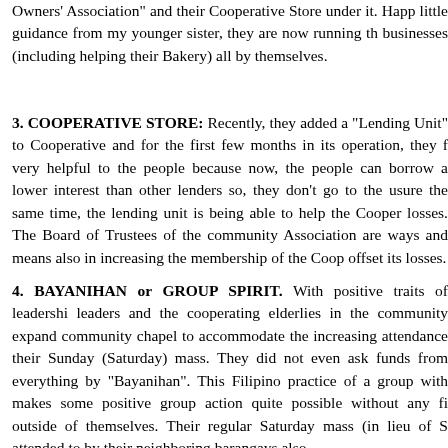Owners' Association" and their Cooperative Store under it. Happ little guidance from my younger sister, they are now running th businesses (including helping their Bakery) all by themselves.
3. COOPERATIVE STORE: Recently, they added a “Lending Unit” to Cooperative and for the first few months in its operation, they f very helpful to the people because now, the people can borrow a lower interest than other lenders so, they don’t go to the usure the same time, the lending unit is being able to help the Cooper losses. The Board of Trustees of the community Association are ways and means also in increasing the membership of the Coop offset its losses.
4. BAYANIHAN or GROUP SPIRIT. With positive traits of leadershi leaders and the cooperating elderlies in the community expand community chapel to accommodate the increasing attendance their Sunday (Saturday) mass. They did not even ask funds from everything by “Bayanihan”. This Filipino practice of a group with makes some positive group action quite possible without any fi outside of themselves. Their regular Saturday mass (in lieu of S attended to by their neighboring barangays also.